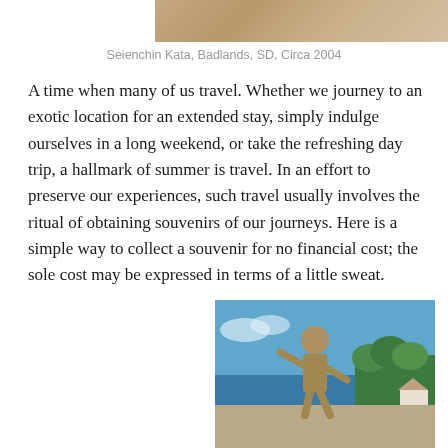[Figure (photo): Top portion of a photo showing Seienchin Kata performed at Badlands, SD, circa 2004 — rocky/sandy landscape visible at the top of the page]
Seienchin Kata, Badlands, SD, Circa 2004
A time when many of us travel. Whether we journey to an exotic location for an extended stay, simply indulge ourselves in a long weekend, or take the refreshing day trip, a hallmark of summer is travel. In an effort to preserve our experiences, such travel usually involves the ritual of obtaining souvenirs of our journeys. Here is a simple way to collect a souvenir for no financial cost; the sole cost may be expressed in terms of a little sweat.
[Figure (photo): Man performing a martial arts kata pose outdoors near a lake, with trees and a small house visible in the background, blue sky above]